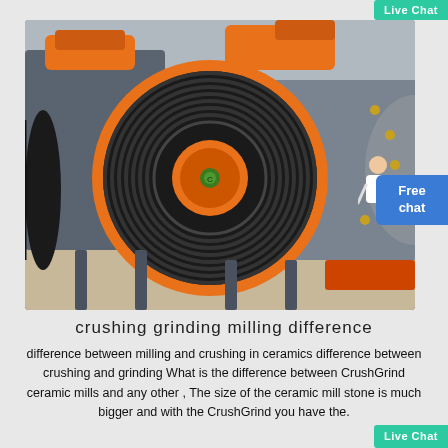Live Chat
[Figure (photo): Industrial grinding/crushing mill machine with large black ribbed pulley wheel with orange rim in the foreground, grey machinery body and orange components in the background, on a factory floor.]
crushing grinding milling difference
difference between milling and crushing in ceramics difference between crushing and grinding What is the difference between CrushGrind ceramic mills and any other , The size of the ceramic mill stone is much bigger and with the CrushGrind you have the.
Live Chat